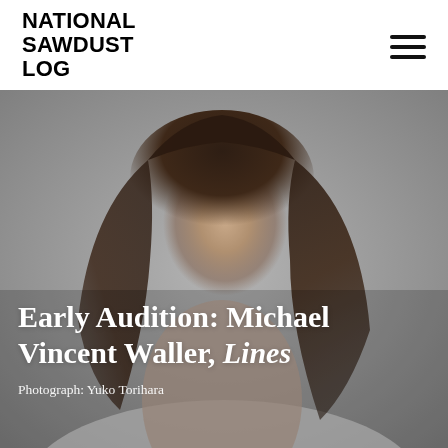NATIONAL SAWDUST LOG
[Figure (photo): Portrait photograph of Michael Vincent Waller, a young man with long brown wavy hair, looking slightly upward against a light grey background. Photo credit: Yuko Torihara.]
Early Audition: Michael Vincent Waller, Lines
Photograph: Yuko Torihara